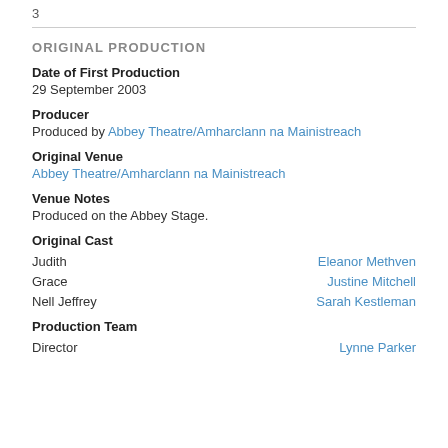3
ORIGINAL PRODUCTION
Date of First Production
29 September 2003
Producer
Produced by Abbey Theatre/Amharclann na Mainistreach
Original Venue
Abbey Theatre/Amharclann na Mainistreach
Venue Notes
Produced on the Abbey Stage.
Original Cast
Judith — Eleanor Methven
Grace — Justine Mitchell
Nell Jeffrey — Sarah Kestleman
Production Team
Director — Lynne Parker